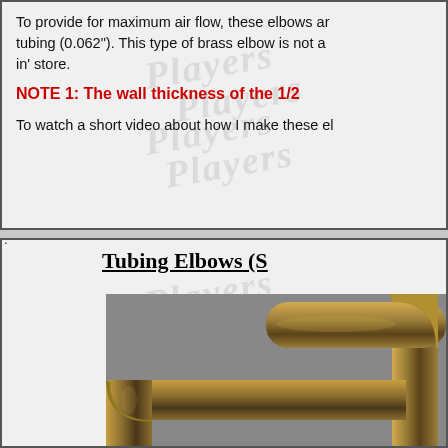To provide for maximum air flow, these elbows ar tubing (0.062"). This type of brass elbow is not a in' store.
NOTE 1: The wall thickness of the 1/2
To watch a short video about how I make these el
Tubing Elbows (S
[Figure (photo): Photo of two brass tubing elbows (90-degree bends) against a gray background. The elbows are made of shiny brass/bronze colored metal tubing.]